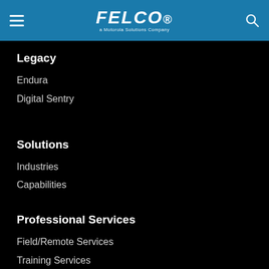[Figure (logo): FELCO logo with 'a Motorola Solutions Company' subtitle on blue header bar with hamburger menu and search icon]
Legacy
Endura
Digital Sentry
Solutions
Industries
Capabilities
Professional Services
Field/Remote Services
Training Services
Training & Support
CHAT WITH AN E...